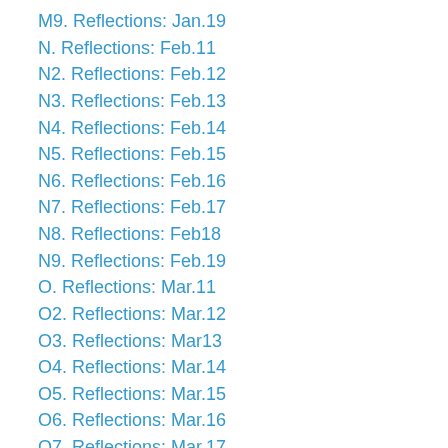M9. Reflections: Jan.19
N. Reflections: Feb.11
N2. Reflections: Feb.12
N3. Reflections: Feb.13
N4. Reflections: Feb.14
N5. Reflections: Feb.15
N6. Reflections: Feb.16
N7. Reflections: Feb.17
N8. Reflections: Feb18
N9. Reflections: Feb.19
O. Reflections: Mar.11
O2. Reflections: Mar.12
O3. Reflections: Mar13
O4. Reflections: Mar.14
O5. Reflections: Mar.15
O6. Reflections: Mar.16
O7. Reflections: Mar.17
O8. Reflections: Mar.18
O9. Reflections: Mar.19
P. Reflections: Apr.11